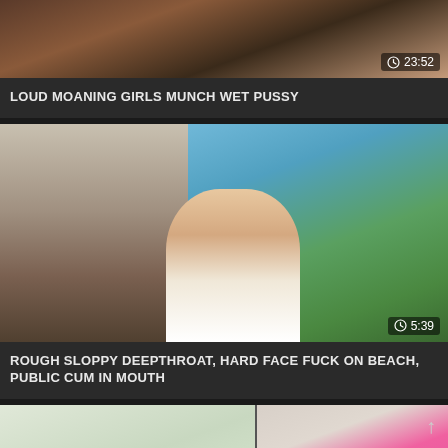[Figure (photo): Video thumbnail showing close-up skin tones, partial top crop]
LOUD MOANING GIRLS MUNCH WET PUSSY
[Figure (photo): Outdoor video thumbnail showing a person kneeling outdoors with trees and blue sky in background, duration 5:39]
ROUGH SLOPPY DEEPTHROAT, HARD FACE FUCK ON BEACH, PUBLIC CUM IN MOUTH
[Figure (photo): Split thumbnail showing two scenes: left with light curtains, right with person in pink outfit]